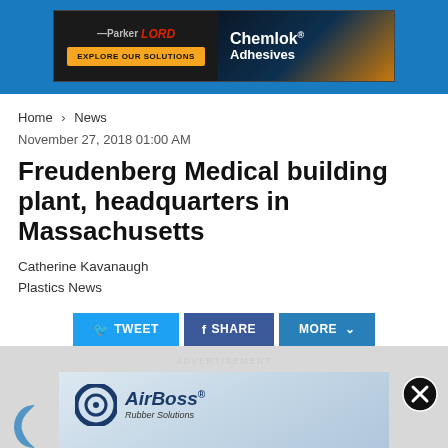[Figure (advertisement): Parker LORD / Chemlok Adhesives banner advertisement]
Home > News
November 27, 2018 01:00 AM
Freudenberg Medical building plant, headquarters in Massachusetts
Catherine Kavanaugh
Plastics News
[Figure (other): Social sharing buttons: TWEET, SHARE, MORE]
[Figure (advertisement): AirBoss Rubber Solutions - RUBBER REIMAGINED advertisement with Freudenberg logo visible behind]